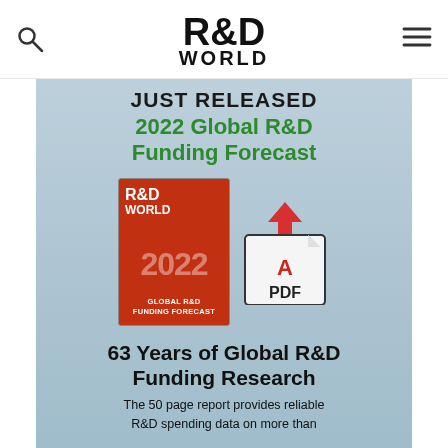R&D WORLD
[Figure (illustration): Promotional banner for the 2022 Global R&D Funding Forecast PDF report, showing a book cover with '2022 GLOBAL R&D FUNDING FORECAST' on an orange/red background, a PDF download icon, and text about 63 years of global R&D funding research.]
JUST RELEASED
2022 Global R&D Funding Forecast
63 Years of Global R&D Funding Research
The 50 page report provides reliable R&D spending data on more than